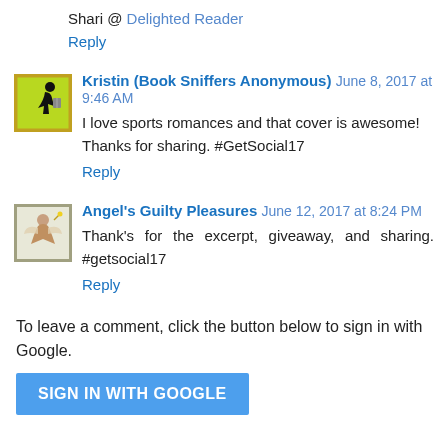Shari @ Delighted Reader
Reply
Kristin (Book Sniffers Anonymous) June 8, 2017 at 9:46 AM
I love sports romances and that cover is awesome! Thanks for sharing. #GetSocial17
Reply
Angel's Guilty Pleasures June 12, 2017 at 8:24 PM
Thank's for the excerpt, giveaway, and sharing. #getsocial17
Reply
To leave a comment, click the button below to sign in with Google.
SIGN IN WITH GOOGLE